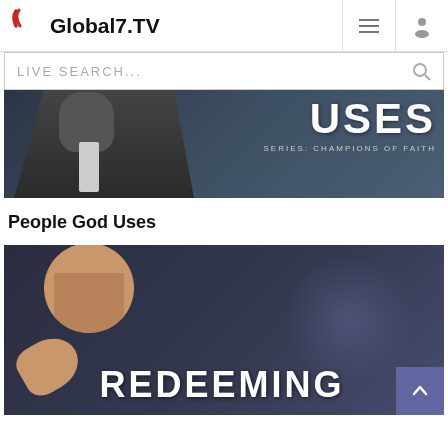Global7.TV — navigation header with logo, menu icon, and user icon
LIVE SEARCH...
[Figure (photo): Promotional image for 'People God Uses' sermon video. Shows a man in a dark suit with 'USES' text overlaid in large white letters. Bottom right text reads 'SERIES: CHAMPIONS OF FAITH'.]
People God Uses
[Figure (photo): Promotional image for 'Redeeming' sermon video. Shows a man gesturing, with 'REDEEMING' text overlaid at the bottom in large white letters. Dark blue/grey background.]